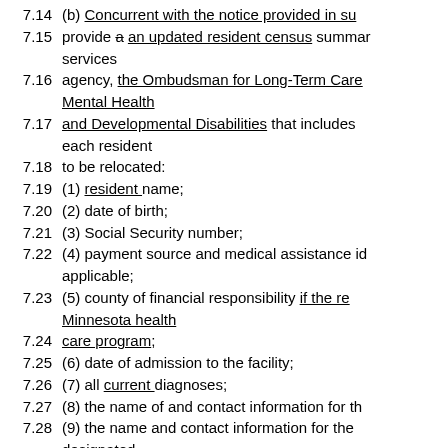7.14	(b) Concurrent with the notice provided in su
7.15	provide a an updated resident census summar services
7.16	agency, the Ombudsman for Long-Term Care Mental Health
7.17	and Developmental Disabilities that includes each resident
7.18	to be relocated:
7.19	(1) resident name;
7.20	(2) date of birth;
7.21	(3) Social Security number;
7.22	(4) payment source and medical assistance id applicable;
7.23	(5) county of financial responsibility if the re Minnesota health
7.24	care program;
7.25	(6) date of admission to the facility;
7.26	(7) all current diagnoses;
7.27	(8) the name of and contact information for th
7.28	(9) the name and contact information for the designated
7.29	representative responsible party;
7.30	(10) the names name of and contact informat